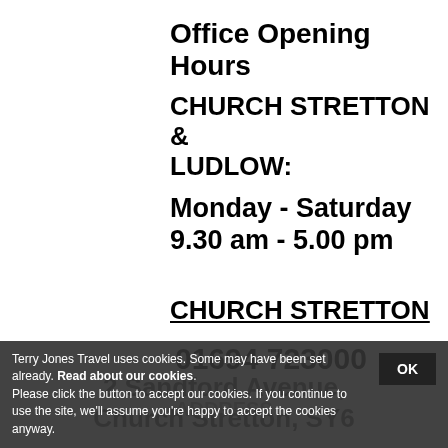Office Opening Hours
CHURCH STRETTON & LUDLOW:
Monday - Saturday
9.30 am - 5.00 pm
CHURCH STRETTON
01694 723000
ADDRESS
2 Sandford Avenue, Church Stretton, SY6
Terry Jones Travel uses cookies. Some may have been set already. Read about our cookies. Please click the button to accept our cookies. If you continue to use the site, we'll assume you're happy to accept the cookies anyway.